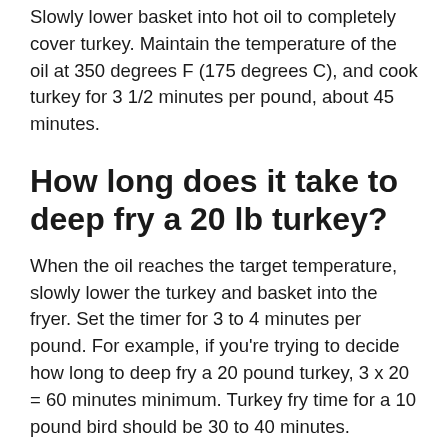Slowly lower basket into hot oil to completely cover turkey. Maintain the temperature of the oil at 350 degrees F (175 degrees C), and cook turkey for 3 1/2 minutes per pound, about 45 minutes.
How long does it take to deep fry a 20 lb turkey?
When the oil reaches the target temperature, slowly lower the turkey and basket into the fryer. Set the timer for 3 to 4 minutes per pound. For example, if you're trying to decide how long to deep fry a 20 pound turkey, 3 x 20 = 60 minutes minimum. Turkey fry time for a 10 pound bird should be 30 to 40 minutes.